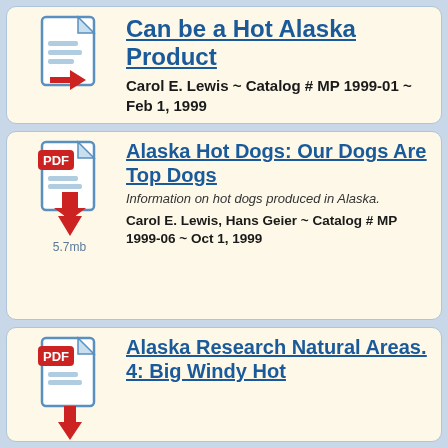Can be a Hot Alaska Product
Carol E. Lewis ~ Catalog # MP 1999-01 ~ Feb 1, 1999
Alaska Hot Dogs: Our Dogs Are Top Dogs
Information on hot dogs produced in Alaska.
Carol E. Lewis, Hans Geier ~ Catalog # MP 1999-06 ~ Oct 1, 1999
5.7mb
Alaska Research Natural Areas. 4: Big Windy Hot